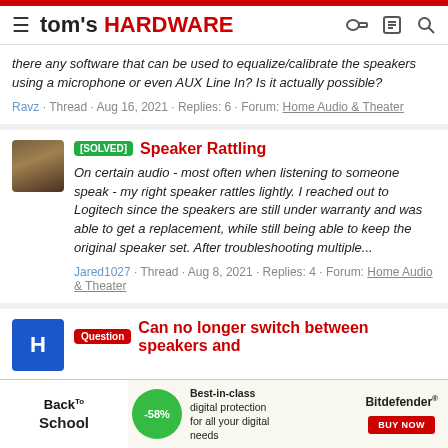tom's HARDWARE
there any software that can be used to equalize/calibrate the speakers using a microphone or even AUX Line In? Is it actually possible?
Ravz · Thread · Aug 16, 2021 · Replies: 6 · Forum: Home Audio & Theater
[SOLVED] Speaker Rattling
On certain audio - most often when listening to someone speak - my right speaker rattles lightly. I reached out to Logitech since the speakers are still under warranty and was able to get a replacement, while still being able to keep the original speaker set. After troubleshooting multiple...
Jared1027 · Thread · Aug 8, 2021 · Replies: 4 · Forum: Home Audio & Theater
Question Can no longer switch between speakers and
[Figure (screenshot): Advertisement banner: Back to School sale with -58% discount bubble, Bitdefender digital protection offer with BUY NOW button]